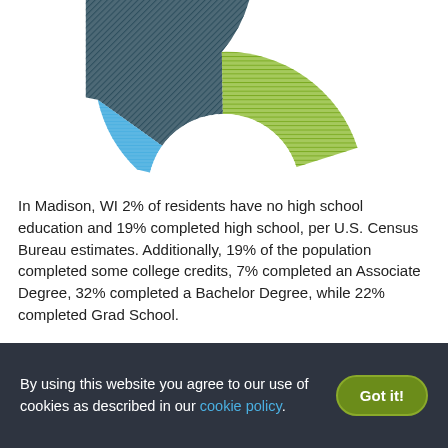[Figure (donut-chart): Partial donut chart showing education levels in Madison, WI. Segments visible: dark teal/navy (largest, ~40%), green (largest visible upper right, ~32%), light blue (smaller, ~7-8%). Top portion of the chart is visible, bottom is cropped.]
In Madison, WI 2% of residents have no high school education and 19% completed high school, per U.S. Census Bureau estimates. Additionally, 19% of the population completed some college credits, 7% completed an Associate Degree, 32% completed a Bachelor Degree, while 22% completed Grad School.
$$$$
Elavate Apartments  $2,119 - $2,199
By using this website you agree to our use of cookies as described in our cookie policy.